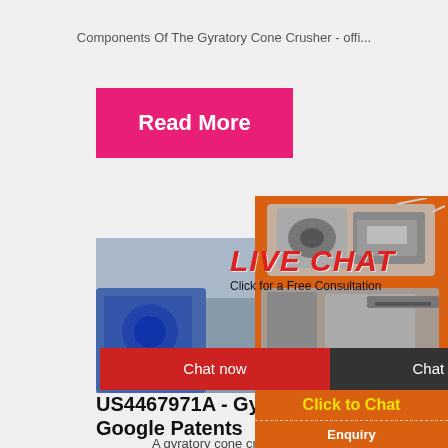Components Of The Gyratory Cone Crusher - offi...
[Figure (screenshot): Pink/red 'Read More' button on light grey background]
[Figure (screenshot): Live Chat popup overlay showing workers in hard hats, with LIVE CHAT heading in red, 'Click for a Free Consultation' text, Chat now and Chat later buttons]
[Figure (photo): Orange sidebar with machinery images, 'Enjoy 3% discount' yellow bar, 'Click to Chat' in yellow text, 'Enquiry' button, limingjlmofen@sina.com contact]
US4467971A - Gyratory cone cru... Google Patents
A gyratory cone crusher of the type havin...